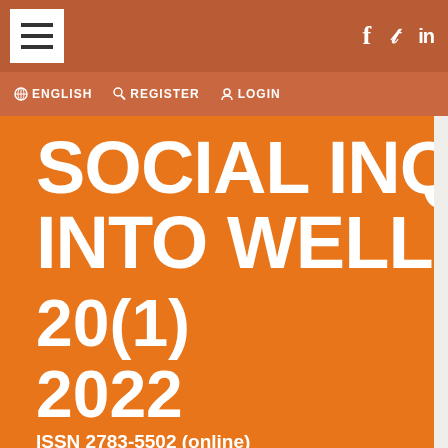≡  f  in
🌐 ENGLISH  🔍 REGISTER  👤 LOGIN
SOCIAL INQ INTO WELL-
20(1)
2022
ISSN 2783-5502 (online)
doi:10.13165/SD